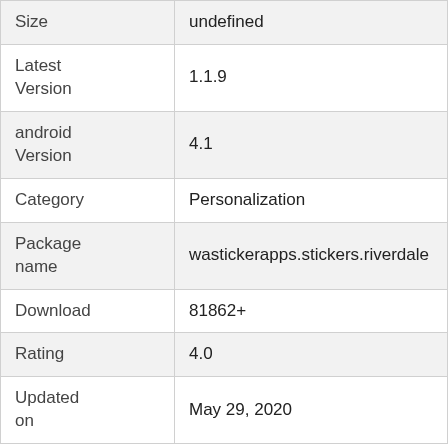| Field | Value |
| --- | --- |
| Size | undefined |
| Latest Version | 1.1.9 |
| android Version | 4.1 |
| Category | Personalization |
| Package name | wastickerapps.stickers.riverdale |
| Download | 81862+ |
| Rating | 4.0 |
| Updated on | May 29, 2020 |